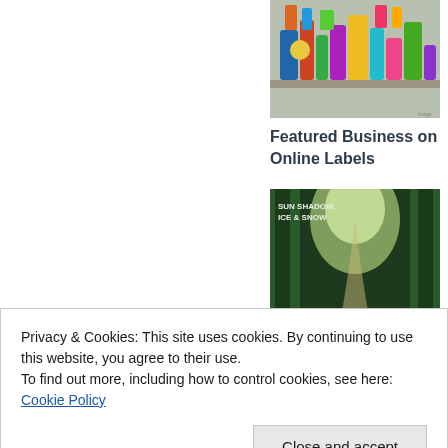[Figure (photo): Photo of colorful bottles and products on a shelf, representing a featured business]
Featured Business on Online Labels
[Figure (photo): Book cover image for 'Sun Shadow, Ice & Snow', showing a child in a green forest path]
Seasons Along the Panhandle Trail, August 26 and 27
Farmers Market
Privacy & Cookies: This site uses cookies. By continuing to use this website, you agree to their use.
To find out more, including how to control cookies, see here: Cookie Policy